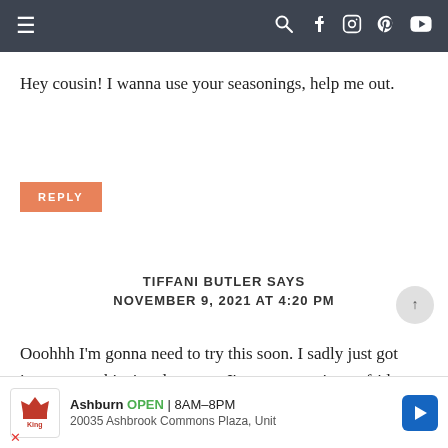≡  🔍 f 📷 p ▶
Hey cousin! I wanna use your seasonings, help me out.
REPLY
TIFFANI BUTLER SAYS
NOVEMBER 9, 2021 AT 4:20 PM
Ooohhh I'm gonna need to try this soon. I sadly just got into greens this time last year. I've got some in my fridge now ready
[Figure (infographic): Advertisement bar for Smoothie King Ashburn location showing logo, open hours 8AM-8PM, address 20035 Ashbrook Commons Plaza, Unit, navigation arrow icon, and cancel X button]